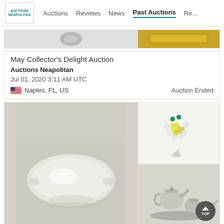Auctions  Reviews  News  Past Auctions  Re...
[Figure (photo): Partial auction listing card with gray circular object on left and gold bar on right]
May Collector's Delight Auction
Auctions Neapolitan
Jul 01, 2020 3:11 AM UTC
Naples, FL, US
Auction Ended
[Figure (photo): Three-panel auction listing image: large white ceramic bowl on left, decorative diamond ring upper right, silver teapot set lower right]